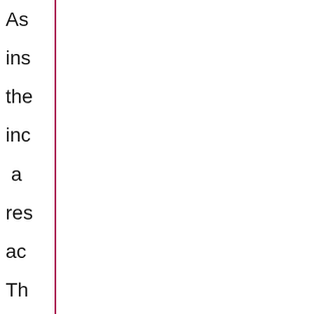As ins the inc a res ac Th CO Sh Un Es is als the on sp in th